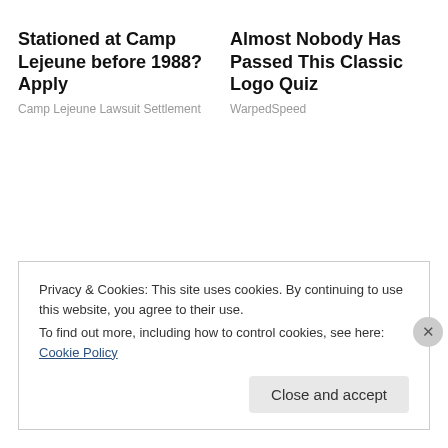Stationed at Camp Lejeune before 1988? Apply
Camp Lejeune Lawsuit Settlement
Almost Nobody Has Passed This Classic Logo Quiz
WarpedSpeed
Privacy & Cookies: This site uses cookies. By continuing to use this website, you agree to their use.
To find out more, including how to control cookies, see here: Cookie Policy
Close and accept